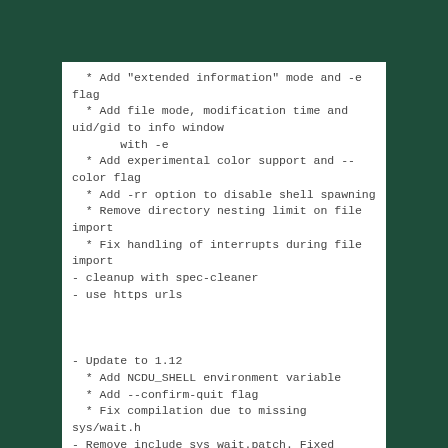* Add "extended information" mode and -e flag
  * Add file mode, modification time and uid/gid to info window
       with -e
  * Add experimental color support and --color flag
  * Add -rr option to disable shell spawning
  * Remove directory nesting limit on file import
  * Fix handling of interrupts during file import
- cleanup with spec-cleaner
- use https urls



- Update to 1.12
  * Add NCDU_SHELL environment variable
  * Add --confirm-quit flag
  * Fix compilation due to missing sys/wait.h
- Remove include_sys_wait.patch. Fixed upstream